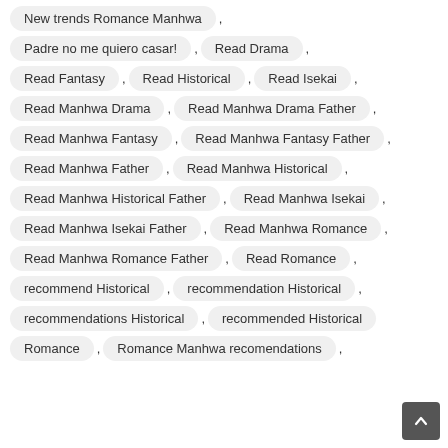New trends Romance Manhwa ,
Padre no me quiero casar! , Read Drama ,
Read Fantasy , Read Historical , Read Isekai ,
Read Manhwa Drama , Read Manhwa Drama Father ,
Read Manhwa Fantasy , Read Manhwa Fantasy Father ,
Read Manhwa Father , Read Manhwa Historical ,
Read Manhwa Historical Father , Read Manhwa Isekai ,
Read Manhwa Isekai Father , Read Manhwa Romance ,
Read Manhwa Romance Father , Read Romance ,
recommend Historical , recommendation Historical ,
recommendations Historical , recommended Historical
Romance , Romance Manhwa recomendations ,